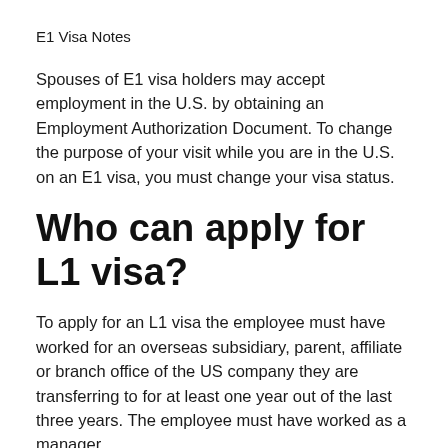E1 Visa Notes
Spouses of E1 visa holders may accept employment in the U.S. by obtaining an Employment Authorization Document. To change the purpose of your visit while you are in the U.S. on an E1 visa, you must change your visa status.
Who can apply for L1 visa?
To apply for an L1 visa the employee must have worked for an overseas subsidiary, parent, affiliate or branch office of the US company they are transferring to for at least one year out of the last three years. The employee must have worked as a manager